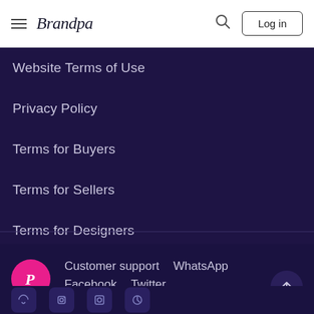Brandpa — Log in
Website Terms of Use
Privacy Policy
Terms for Buyers
Terms for Sellers
Terms for Designers
Customer support   WhatsApp   Facebook   Twitter